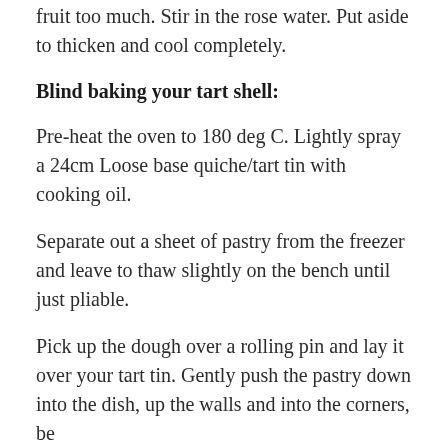fruit too much. Stir in the rose water. Put aside to thicken and cool completely.
Blind baking your tart shell:
Pre-heat the oven to 180 deg C. Lightly spray a 24cm Loose base quiche/tart tin with cooking oil.
Separate out a sheet of pastry from the freezer and leave to thaw slightly on the bench until just pliable.
Pick up the dough over a rolling pin and lay it over your tart tin. Gently push the pastry down into the dish, up the walls and into the corners, be